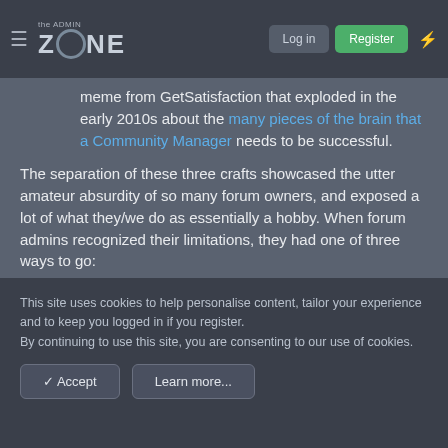the ADMIN ZONE | Log in | Register
meme from GetSatisfaction that exploded in the early 2010s about the many pieces of the brain that a Community Manager needs to be successful.
The separation of these three crafts showcased the utter amateur absurdity of so many forum owners, and exposed a lot of what they/we do as essentially a hobby. When forum admins recognized their limitations, they had one of three ways to go:
Treat it as a hobby, and eventually lose out on the revenue; OR,
Treat it as a business, and start hiring professionals
This site uses cookies to help personalise content, tailor your experience and to keep you logged in if you register. By continuing to use this site, you are consenting to our use of cookies.